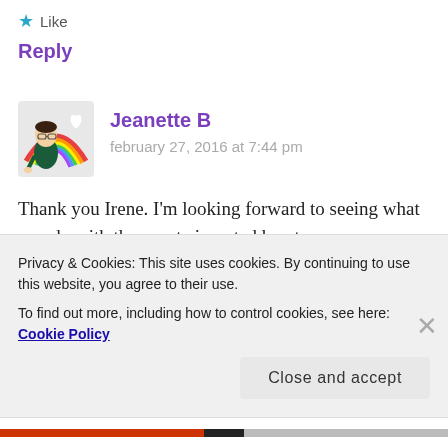Like
Reply
[Figure (illustration): Cartoon avatar of a woman with glasses and dark hair, with a rainbow and white heart graphic, representing user Jeanette B]
Jeanette B
february 27, 2016 at 7:44 pm
Thank you Irene. I'm looking forward to seeing what you do with those cute inverted hearts.
Like
Privacy & Cookies: This site uses cookies. By continuing to use this website, you agree to their use.
To find out more, including how to control cookies, see here: Cookie Policy
Close and accept